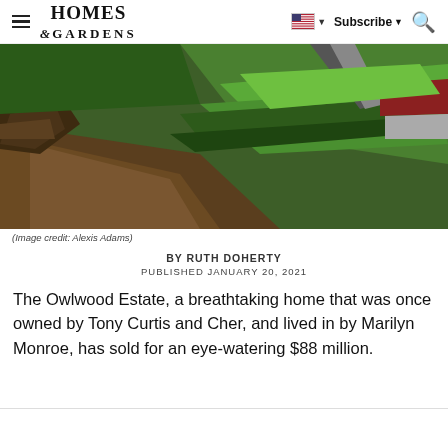HOMES & GARDENS | Subscribe | Search
[Figure (photo): Aerial/landscape view of the Owlwood Estate grounds showing green lawns, a winding driveway, hedgerows, and a building with red roof, with a large tree root in the foreground]
(Image credit: Alexis Adams)
BY RUTH DOHERTY
PUBLISHED JANUARY 20, 2021
The Owlwood Estate, a breathtaking home that was once owned by Tony Curtis and Cher, and lived in by Marilyn Monroe, has sold for an eye-watering $88 million.